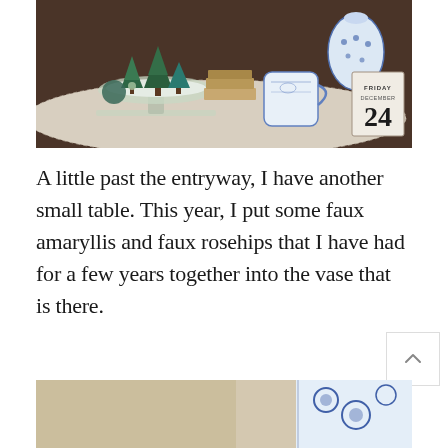[Figure (photo): A decorated table with miniature bottle brush Christmas trees on a glass cake stand, a blue and white chinoiserie mug and ginger jar, a crochet doily, and a wooden perpetual calendar showing Friday December 24.]
A little past the entryway, I have another small table. This year, I put some faux amaryllis and faux rosehips that I have had for a few years together into the vase that is there.
[Figure (photo): Partial view of a second decorative table with blue and white floral vase visible on the right side, warm blurred background.]